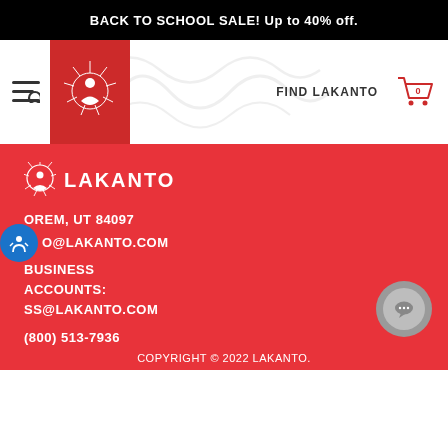BACK TO SCHOOL SALE! Up to 40% off.
[Figure (logo): Lakanto logo with red background box in navigation bar]
FIND LAKANTO
[Figure (logo): Lakanto white logo with brand name in footer red section]
OREM, UT 84097
O@LAKANTO.COM
BUSINESS ACCOUNTS: SS@LAKANTO.COM
(800) 513-7936
COPYRIGHT © 2022 LAKANTO.